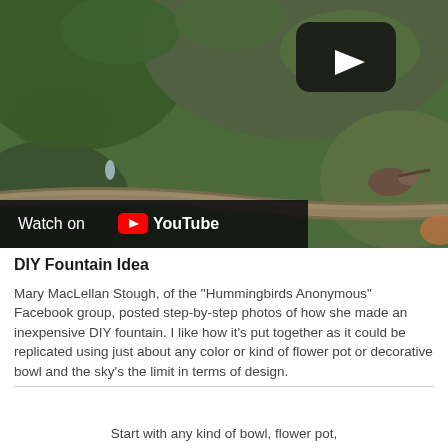[Figure (screenshot): A YouTube video thumbnail showing a hummingbird perched on a wet branch with green foliage in the background. A YouTube play button is visible in the upper right. A 'Watch on YouTube' bar appears at the bottom left of the video.]
DIY Fountain Idea
Mary MacLellan Stough, of the "Hummingbirds Anonymous" Facebook group, posted step-by-step photos of how she made an inexpensive DIY fountain. I like how it's put together as it could be replicated using just about any color or kind of flower pot or decorative bowl and the sky's the limit in terms of design.
Start with any kind of bowl, flower pot,